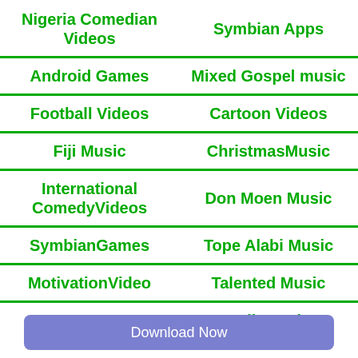| Nigeria Comedian Videos | Symbian Apps |
| Android Games | Mixed Gospel music |
| Football Videos | Cartoon Videos |
| Fiji Music | ChristmasMusic |
| International ComedyVideos | Don Moen Music |
| SymbianGames | Tope Alabi Music |
| MotivationVideo | Talented Music |
| Java Apps | NaijaMusic |
Download Now